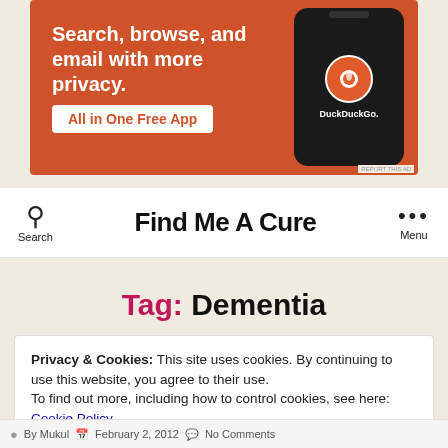[Figure (infographic): DuckDuckGo advertisement banner: orange background with text 'Search, browse, and email with more privacy. All in One Free App' and a smartphone image showing DuckDuckGo app]
Find Me A Cure
Tag: Dementia
Privacy & Cookies: This site uses cookies. By continuing to use this website, you agree to their use. To find out more, including how to control cookies, see here: Cookie Policy
CLOSE AND ACCEPT
By Mukul   February 2, 2012   No Comments